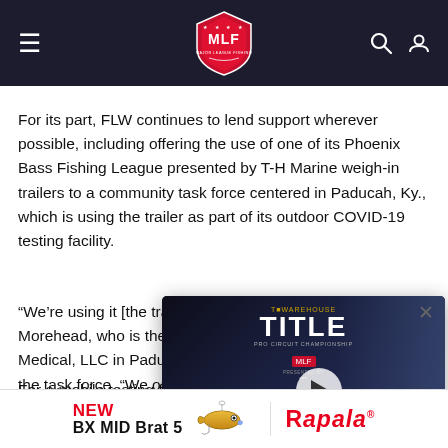MLF Major League Fishing – navigation header
For its part, FLW continues to lend support wherever possible, including offering the use of one of its Phoenix Bass Fishing League presented by T-H Marine weigh-in trailers to a community task force centered in Paducah, Ky., which is using the trailer as part of its outdoor COVID-19 testing facility.
"We're using it [the trailer] as a check-in point," said Jessie Morehead, who is the executive director of HealthWorks Medical, LLC in Paducah and is the "community worker" for the task force. "We operate from the stage, which gives us distance between patients and our staff."
[Figure (screenshot): Video overlay popup showing MLF TITLE Pro Circuit Championship promotional video thumbnail with play button]
For a mobile testing facility like this, which is set up in the enormous parking lot at Heartland Church in Paducah,
[Figure (logo): Rapala advertisement banner: NEW BX MID Brat 5 lure with Rapala logo]